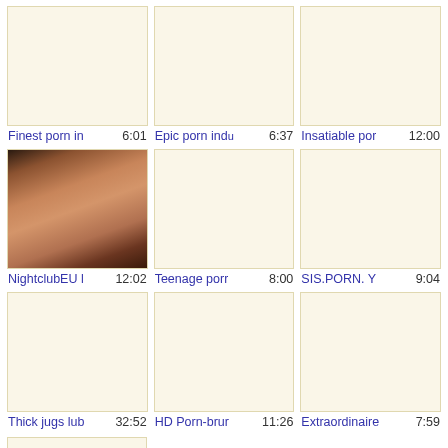[Figure (screenshot): Video thumbnail grid showing 9 video items in 3 columns. Row 1: 3 blank cream thumbnails. Row 2: 1 thumbnail with adult content image, 2 blank cream thumbnails. Row 3: 3 blank cream thumbnails. Row 4: 1 partial blank cream thumbnail.]
Finest porn in  6:01
Epic porn ind  6:37
Insatiable por  12:00
NightclubEU I  12:02
Teenage porr  8:00
SIS.PORN. Y  9:04
Thick jugs lub  32:52
HD Porn-brur  11:26
Extraordinaire  7:59